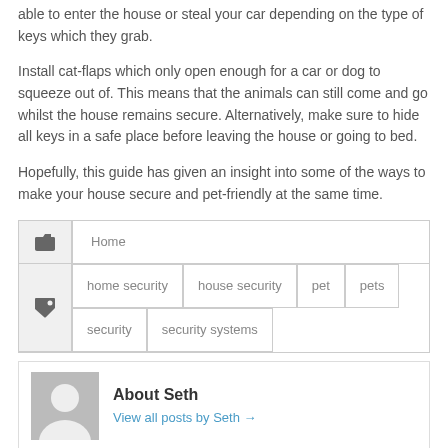able to enter the house or steal your car depending on the type of keys which they grab.
Install cat-flaps which only open enough for a car or dog to squeeze out of. This means that the animals can still come and go whilst the house remains secure. Alternatively, make sure to hide all keys in a safe place before leaving the house or going to bed.
Hopefully, this guide has given an insight into some of the ways to make your house secure and pet-friendly at the same time.
Home (category tag)
home security, house security, pet, pets, security, security systems (tags)
About Seth
View all posts by Seth →